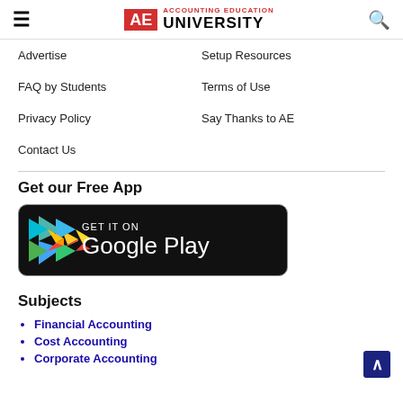AE Accounting Education University
Advertise
Setup Resources
FAQ by Students
Terms of Use
Privacy Policy
Say Thanks to AE
Contact Us
Get our Free App
[Figure (logo): Google Play Store badge with play button icon and text GET IT ON Google Play on black background]
Subjects
Financial Accounting
Cost Accounting
Corporate Accounting